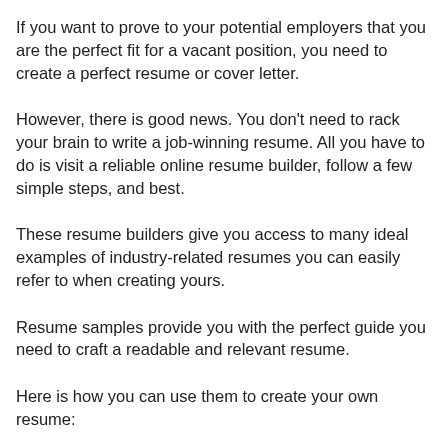If you want to prove to your potential employers that you are the perfect fit for a vacant position, you need to create a perfect resume or cover letter.
However, there is good news. You don't need to rack your brain to write a job-winning resume. All you have to do is visit a reliable online resume builder, follow a few simple steps, and best.
These resume builders give you access to many ideal examples of industry-related resumes you can easily refer to when creating yours.
Resume samples provide you with the perfect guide you need to craft a readable and relevant resume.
Here is how you can use them to create your own resume: